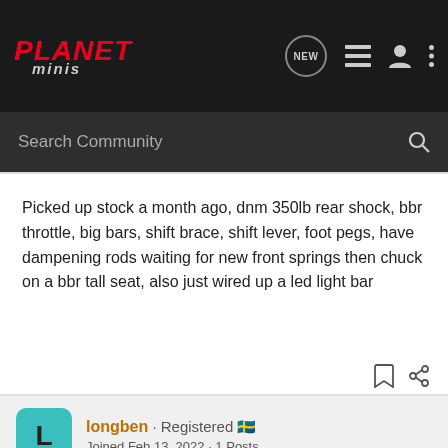PLANET minis
Search Community
Picked up stock a month ago, dnm 350lb rear shock, bbr throttle, big bars, shift brace, shift lever, foot pegs, have dampening rods waiting for new front springs then chuck on a bbr tall seat, also just wired up a led light bar
longben · Registered 🇸🇪
Joined Feb 13, 2022 · 1 Posts
#70 · Feb 13, 2022